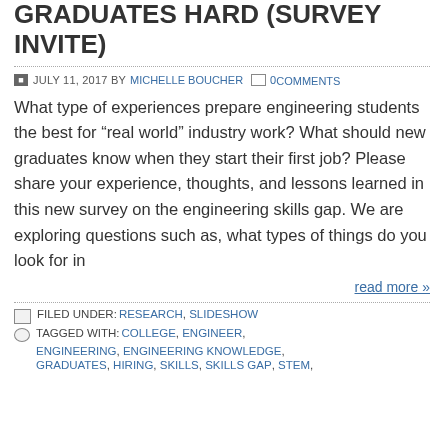GRADUATES HARD (SURVEY INVITE)
JULY 11, 2017 BY MICHELLE BOUCHER 0 COMMENTS
What type of experiences prepare engineering students the best for “real world” industry work? What should new graduates know when they start their first job? Please share your experience, thoughts, and lessons learned in this new survey on the engineering skills gap. We are exploring questions such as, what types of things do you look for in
read more »
FILED UNDER: RESEARCH, SLIDESHOW
TAGGED WITH: COLLEGE, ENGINEER, ENGINEERING, ENGINEERING KNOWLEDGE, GRADUATES, HIRING, SKILLS, SKILLS GAP, STEM,